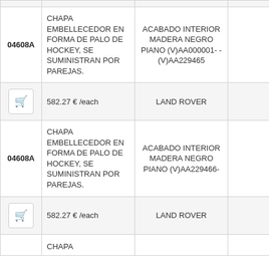| Code | Description | Finish/Model | Brand |
| --- | --- | --- | --- |
| 04608A | CHAPA EMBELLECEDOR EN FORMA DE PALO DE HOCKEY, SE SUMINISTRAN POR PAREJAS. | ACABADO INTERIOR MADERA NEGRO PIANO (V)AA000001- - (V)AA229465 |  |
| [cart] | 582.27 € /each | LAND ROVER |  |
| 04608A | CHAPA EMBELLECEDOR EN FORMA DE PALO DE HOCKEY, SE SUMINISTRAN POR PAREJAS. | ACABADO INTERIOR MADERA NEGRO PIANO (V)AA229466- |  |
| [cart] | 582.27 € /each | LAND ROVER |  |
|  | CHAPA |  |  |